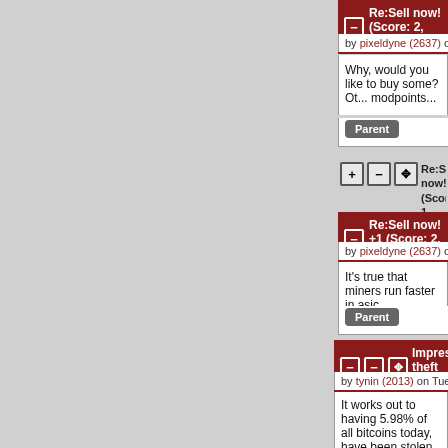Re:Sell now! (Score: 2, Funn...
by pixeldyne (2637) on Tuesday February 2...
Why, would you like to buy some? Ot... modpoints...
Parent
Re:Sell now! (Score: 1, Fun... Wednesday February 26 201...
Re:Sell now! +1 (Score: 2, F...
by pixeldyne (2637) on Wednesday Februar...
It's true that miners run faster in asic...
Parent
Impressive theft (Score: 4...
by tynin (2013) on Tuesday February 25 2014, @1...
It works out to having 5.98% of all bitcoins today, have been stolen in this theft. That...